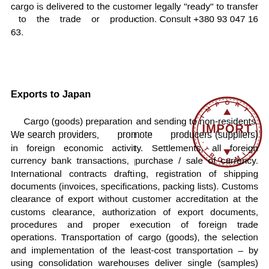cargo is delivered to the customer legally "ready" to transfer to the trade or production. Consult +380 93 047 16 63.
Exports to Japan
[Figure (illustration): Circular red import stamp with the word IMPORT in large letters in the center and smaller text around the border reading IMPORT]
Cargo (goods) preparation and sending to non-residents. We search providers, promote producers (suppliers) in foreign economic activity. Settlements, all foreign currency bank transactions, purchase / sale of currency. International contracts drafting, registration of shipping documents (invoices, specifications, packing lists). Customs clearance of export without customer accreditation at the customs clearance, authorization of export documents, procedures and proper execution of foreign trade operations. Transportation of cargo (goods), the selection and implementation of the least-cost transportation – by using consolidation warehouses deliver single (samples) and complete